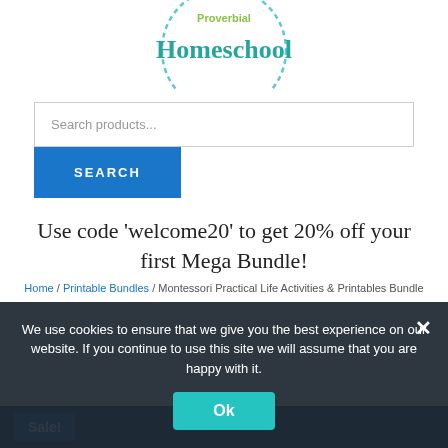[Figure (logo): Proverbial Homeschool logo with teal 'Homeschool' text and dotted circle border]
Search products...
SEARCH
Use code 'welcome20' to get 20% off your first Mega Bundle!
Home / Printable Bundles / Montessori Practical Life Activities & Printables Bundle
Sale!
We use cookies to ensure that we give you the best experience on our website. If you continue to use this site we will assume that you are happy with it.
Ok